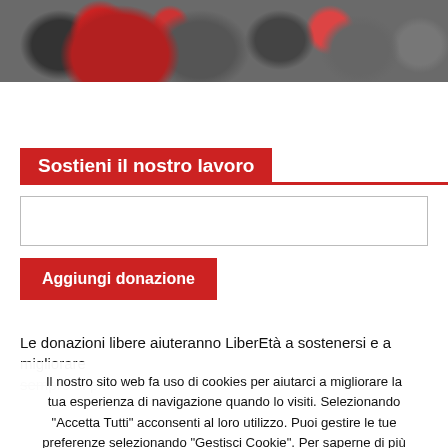[Figure (photo): Crowd of people at a rally or public event, one person wearing a red cap and red scarf visible prominently]
Sostieni il nostro lavoro
[Figure (other): Text input field for donation amount]
Aggiungi donazione
Le donazioni libere aiuteranno LiberEtà a sostenersi e a migliorare sempre di più.
Il nostro sito web fa uso di cookies per aiutarci a migliorare la tua esperienza di navigazione quando lo visiti. Selezionando "Accetta Tutti" acconsenti al loro utilizzo. Puoi gestire le tue preferenze selezionando "Gestisci Cookie". Per saperne di più seleziona "Maggiori Informazioni".